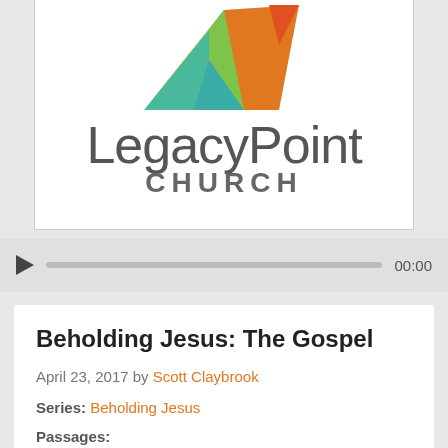[Figure (logo): LegacyPoint Church logo with colorful geometric mountain/arrow shape above the text 'LegacyPoint CHURCH']
▶  00:00 (audio player bar)
Beholding Jesus: The Gospel
April 23, 2017 by Scott Claybrook
Series: Beholding Jesus
Passages:
Mark 1:1-15